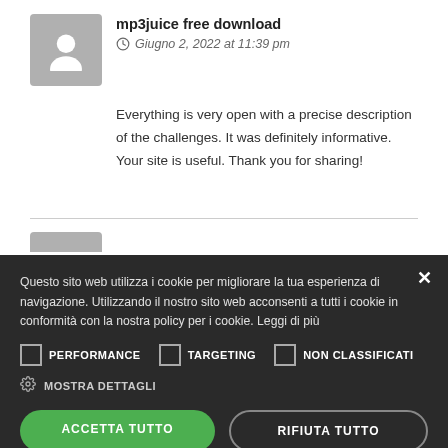mp3juice free download
Giugno 2, 2022 at 11:39 pm
Everything is very open with a precise description of the challenges. It was definitely informative. Your site is useful. Thank you for sharing!
Questo sito web utilizza i cookie per migliorare la tua esperienza di navigazione. Utilizzando il nostro sito web acconsenti a tutti i cookie in conformità con la nostra policy per i cookie. Leggi di più
PERFORMANCE
TARGETING
NON CLASSIFICATI
MOSTRA DETTAGLI
ACCETTA TUTTO
RIFIUTA TUTTO